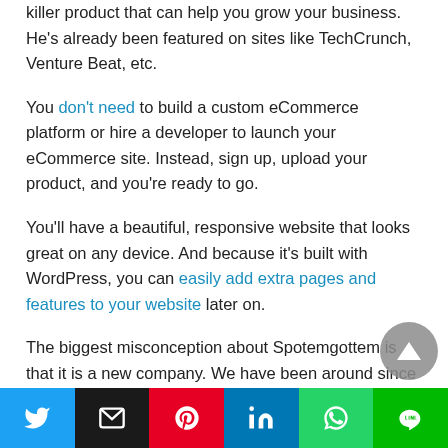killer product that can help you grow your business. He's already been featured on sites like TechCrunch, Venture Beat, etc.
You don't need to build a custom eCommerce platform or hire a developer to launch your eCommerce site. Instead, sign up, upload your product, and you're ready to go.
You'll have a beautiful, responsive website that looks great on any device. And because it's built with WordPress, you can easily add extra pages and features to your website later on.
The biggest misconception about Spotemgottem is that it is a new company. We have been around since 2007. But you might not know who we are. So, let me tell you how we got started.
[Figure (other): Social share buttons: Twitter, Email, Pinterest, LinkedIn, WhatsApp, LINE]